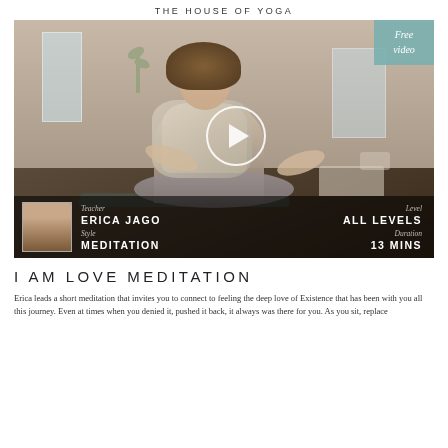THE HOUSE OF YOGA
[Figure (photo): Woman sitting cross-legged on a yoga mat in a bright studio, hands open, with a play button overlay. Overlay shows teacher info: Erica Jago, Style: Meditation, Level: All Levels, Duration: 13 Mins. Top-right corner shows 'Free video' badge in teal.]
I AM LOVE MEDITATION
Erica leads a short meditation that invites you to connect to feeling the deep love of Existence that has been with you all this journey. Even at times when you denied it, pushed it back, it always was there for you. As you sit, replace your thoughts with the open heart. Breathe. Just